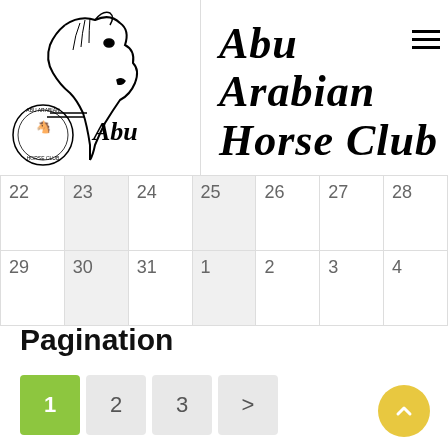[Figure (logo): Abu Arabian Horse Club logo with horse head illustration and circular badge, alongside cursive text reading 'Abu Arabian Horse Club']
| 22 | 23 | 24 | 25 | 26 | 27 | 28 |
| 29 | 30 | 31 | 1 | 2 | 3 | 4 |
Pagination
1  2  3  >